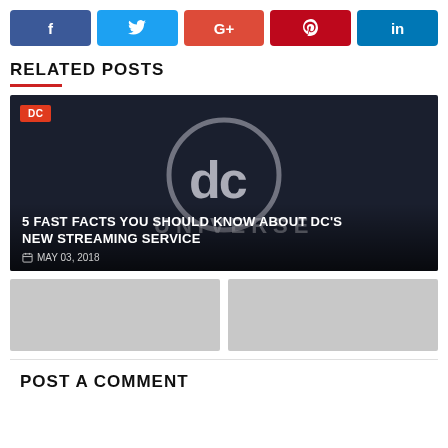[Figure (infographic): Social share buttons: Facebook (blue), Twitter (light blue), Google+ (red-orange), Pinterest (dark red), LinkedIn (blue)]
RELATED POSTS
[Figure (photo): DC Universe logo on dark blue background. DC badge label (red) in top-left. Title overlay: '5 FAST FACTS YOU SHOULD KNOW ABOUT DC'S NEW STREAMING SERVICE'. Date: MAY 03, 2018]
[Figure (photo): Two partially visible gray card images below the main card]
POST A COMMENT